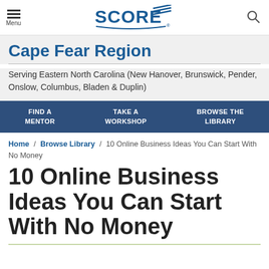SCORE — Menu / Search
Cape Fear Region
Serving Eastern North Carolina (New Hanover, Brunswick, Pender, Onslow, Columbus, Bladen & Duplin)
FIND A MENTOR   TAKE A WORKSHOP   BROWSE THE LIBRARY
Home / Browse Library / 10 Online Business Ideas You Can Start With No Money
10 Online Business Ideas You Can Start With No Money